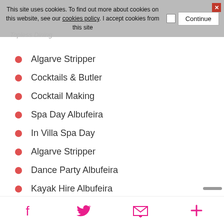This site uses cookies. To find out more about cookies on this website, see our cookies policy. I accept cookies from this site
Topless Dining
Algarve Stripper
Cocktails & Butler
Cocktail Making
Spa Day Albufeira
In Villa Spa Day
Algarve Stripper
Dance Party Albufeira
Kayak Hire Albufeira
Hen Group Meal